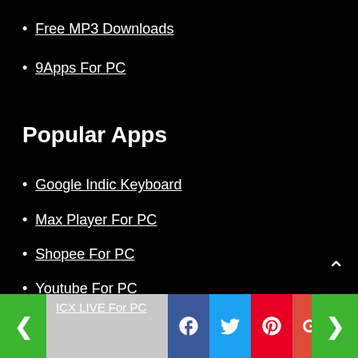Free MP3 Downloads
9Apps For PC
Popular Apps
Google Indic Keyboard
Max Player For PC
Shopee For PC
Youtube For PC
Video Downloader
Hot Apps
ICX LIVE For PC  [navigation and social share bar]